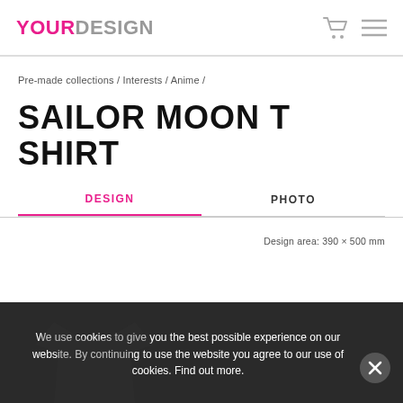YOURDESIGN
Pre-made collections / Interests / Anime /
SAILOR MOON T SHIRT
DESIGN	PHOTO
Design area: 390 × 500 mm
We use cookies to give you the best possible experience on our website. By continuing to use the website you agree to our use of cookies. Find out more.